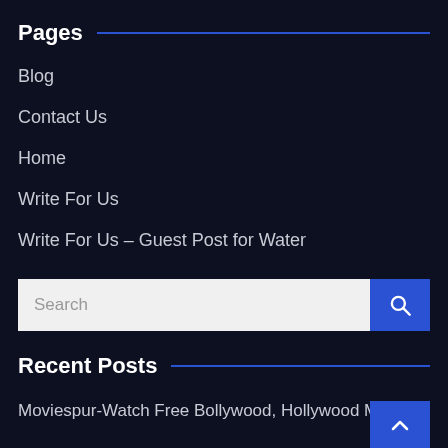Pages
Blog
Contact Us
Home
Write For Us
Write For Us – Guest Post for Water
[Figure (screenshot): Search bar with white input field and blue search button with magnifying glass icon]
Recent Posts
Moviespur-Watch Free Bollywood, Hollywood Movies HD
How to Choose the Perfect Bar Stools for Your Restaurant
Online Business and Trading during COVID Time